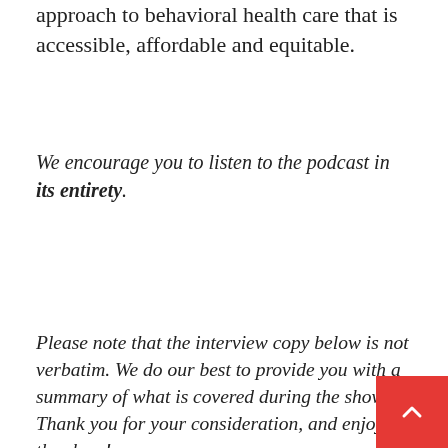approach to behavioral health care that is accessible, affordable and equitable.
We encourage you to listen to the podcast in its entirety.
[Figure (screenshot): Embedded audio player titled 'Putting People First in Behavioral Health Refo' showing 0:00 start time, play button, progress bar, volume button, and four action buttons: expand, download, RSS, and share.]
Please note that the interview copy below is not verbatim. We do our best to provide you with a summary of what is covered during the show. Thank you for your consideration, and enjoy the show!